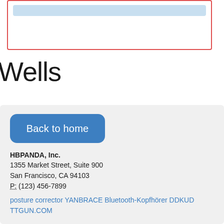[Figure (screenshot): A UI box with a red border containing a light blue bar at the top, representing a form or widget element.]
Wells
[Figure (screenshot): A gray footer panel containing a blue 'Back to home' button, company address for HBPANDA Inc., and two hyperlinks.]
HBPANDA, Inc.
1355 Market Street, Suite 900
San Francisco, CA 94103
P: (123) 456-7899
posture corrector YANBRACE Bluetooth-Kopfhörer DDKUD TTGUN.COM